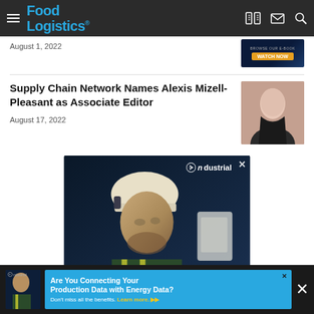Food Logistics
August 1, 2022
Supply Chain Network Names Alexis Mizell-Pleasant as Associate Editor
August 17, 2022
[Figure (photo): Man in hard hat and safety vest - Ndustrial advertisement]
[Figure (photo): Bottom sticky advertisement: Are You Connecting Your Production Data with Energy Data? Don't miss all the benefits. Learn more.]